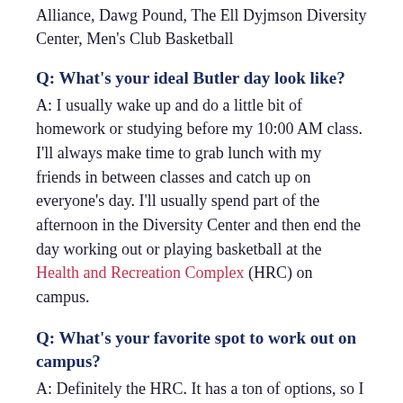Alliance, Dawg Pound, The Ell Dyjmson Diversity Center, Men's Club Basketball
Q: What's your ideal Butler day look like?
A: I usually wake up and do a little bit of homework or studying before my 10:00 AM class. I'll always make time to grab lunch with my friends in between classes and catch up on everyone's day. I'll usually spend part of the afternoon in the Diversity Center and then end the day working out or playing basketball at the Health and Recreation Complex (HRC) on campus.
Q: What's your favorite spot to work out on campus?
A: Definitely the HRC. It has a ton of options, so I never get bored. There's a large variety of cardio equipment and weight machines, plus a swimming pool. And, my favorite part: basketball courts that